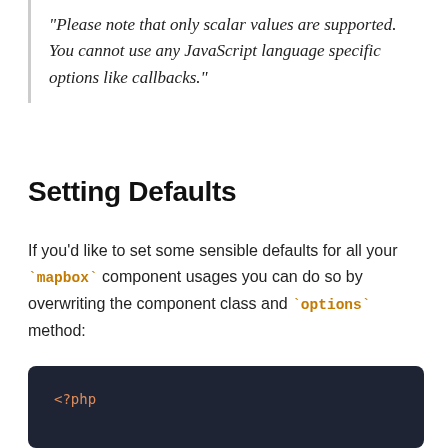"Please note that only scalar values are supported. You cannot use any JavaScript language specific options like callbacks."
Setting Defaults
If you'd like to set some sensible defaults for all your `mapbox` component usages you can do so by overwriting the component class and `options` method:
[Figure (screenshot): Dark-themed PHP code block showing: <?php followed by namespace App\View\Components;]